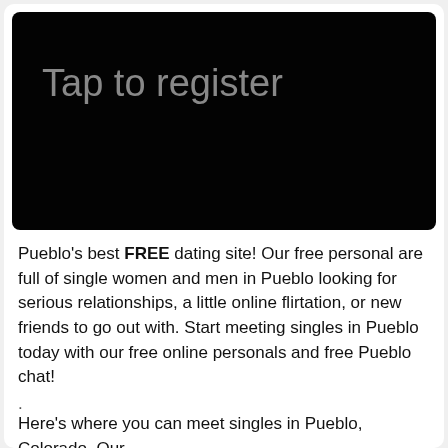[Figure (screenshot): Dark/black rectangular banner with gray text 'Tap to register' overlaid on it]
Pueblo's best FREE dating site! Our free personal are full of single women and men in Pueblo looking for serious relationships, a little online flirtation, or new friends to go out with. Start meeting singles in Pueblo today with our free online personals and free Pueblo chat!
.
Here's where you can meet singles in Pueblo, Colorado. Our